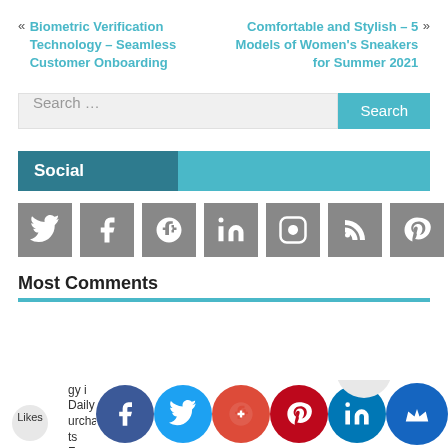« Biometric Verification Technology – Seamless Customer Onboarding
Comfortable and Stylish – 5 Models of Women's Sneakers for Summer 2021 »
Search …
Social
[Figure (infographic): Seven social media icon buttons (Twitter, Facebook, Google+, LinkedIn, Instagram, RSS, Pinterest) in grey square tiles]
Most Comments
rtant Scien d Te gy i Daily urchase ts Fo r Mo Lo
Likes